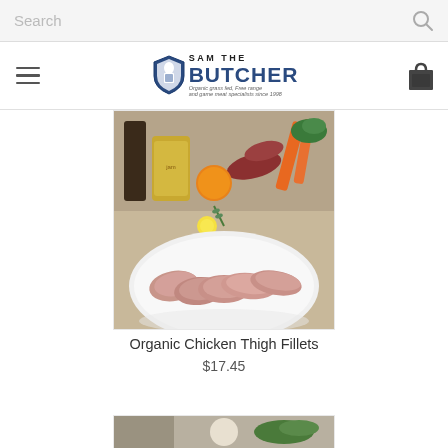Search
[Figure (logo): Sam The Butcher logo with shield icon, butcher in apron, tagline: Organic grass fed, Free range and game meat specialists since 1998]
[Figure (photo): Photo of organic chicken thigh fillets on a white plate, with condiments, sausages, oranges, and vegetables in the background]
Organic Chicken Thigh Fillets
$17.45
[Figure (photo): Partial photo of another product at the bottom of the page]